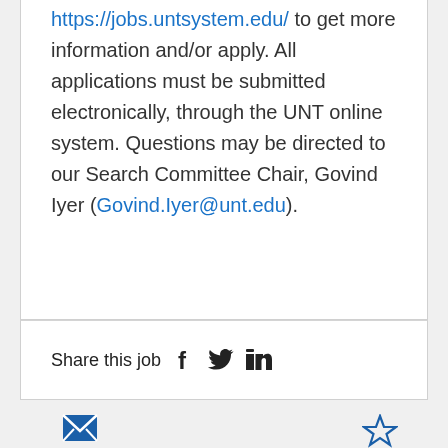https://jobs.untsystem.edu/ to get more information and/or apply. All applications must be submitted electronically, through the UNT online system. Questions may be directed to our Search Committee Chair, Govind Iyer (Govind.Iyer@unt.edu).
Share this job
[Figure (other): Social media share icons: Facebook (f), Twitter (bird), LinkedIn (in)]
[Figure (other): Send job icon (envelope) and Save icon (star) at bottom of page]
Send job
Save